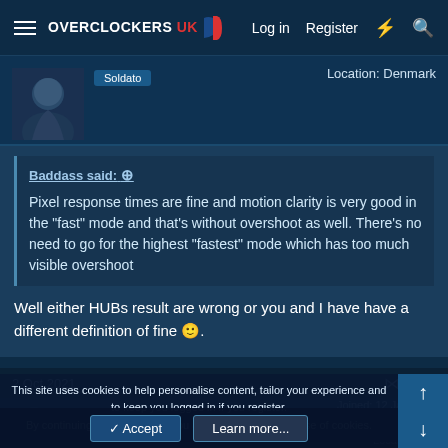Overclockers UK — Log in  Register
Location: Denmark
Baddass said: ↑
Pixel response times are fine and motion clarity is very good in the "fast" mode and that's without overshoot as well. There's no need to go for the highest "fastest" mode which has too much visible overshoot
Well either HUBs result are wrong or you and I have have a different definition of fine 🙂.
2 Oct 2021  #11
Baddass
Soldato  OP
Joined: 12 Jan 2003
Posts: 20,285
Location: UK
This site uses cookies to help personalise content, tailor your experience and to keep you logged in if you register.
By continuing to use this site, you are consenting to our use of cookies.
✓ Accept    Learn more...